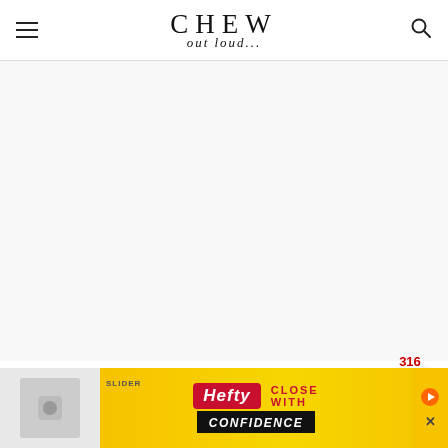CHEW out loud...
[Figure (other): Large blank/white advertisement space placeholder area]
TRY OUR SUPER EASY THAI ICED COFFEE, TOO:
[Figure (other): Hefty Slider Bags advertisement banner: 'HEFTY CLOSE WITH CONFIDENCE']